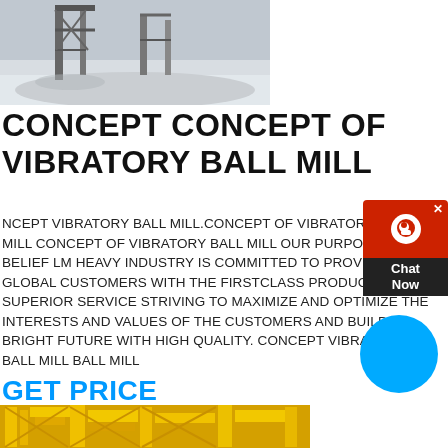[Figure (photo): Industrial site with machinery structure, steel scaffolding and equipment visible on a gray ground, black and white/muted tones]
CONCEPT CONCEPT OF VIBRATORY BALL MILL
NCEPT VIBRATORY BALL MILL.CONCEPT OF VIBRATORY BALL MILL CONCEPT OF VIBRATORY BALL MILL OUR PURPOSE AND BELIEF LM HEAVY INDUSTRY IS COMMITTED TO PROVIDE THE GLOBAL CUSTOMERS WITH THE FIRSTCLASS PRODUCTS AND SUPERIOR SERVICE STRIVING TO MAXIMIZE AND OPTIMIZE THE INTERESTS AND VALUES OF THE CUSTOMERS AND BUILD BRIGHT FUTURE WITH HIGH QUALITY. CONCEPT VIBRATORY BALL MILL BALL MILL
GET PRICE
[Figure (photo): Yellow industrial machinery, appears to be construction or mining equipment with yellow metal frame structure]